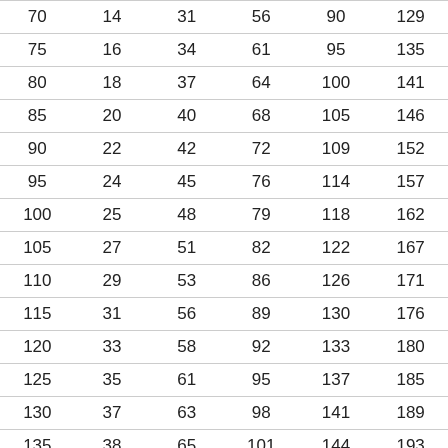| 70 | 14 | 31 | 56 | 90 | 129 |
| 75 | 16 | 34 | 61 | 95 | 135 |
| 80 | 18 | 37 | 64 | 100 | 141 |
| 85 | 20 | 40 | 68 | 105 | 146 |
| 90 | 22 | 42 | 72 | 109 | 152 |
| 95 | 24 | 45 | 76 | 114 | 157 |
| 100 | 25 | 48 | 79 | 118 | 162 |
| 105 | 27 | 51 | 82 | 122 | 167 |
| 110 | 29 | 53 | 86 | 126 | 171 |
| 115 | 31 | 56 | 89 | 130 | 176 |
| 120 | 33 | 58 | 92 | 133 | 180 |
| 125 | 35 | 61 | 95 | 137 | 185 |
| 130 | 37 | 63 | 98 | 141 | 189 |
| 135 | 38 | 65 | 101 | 144 | 193 |